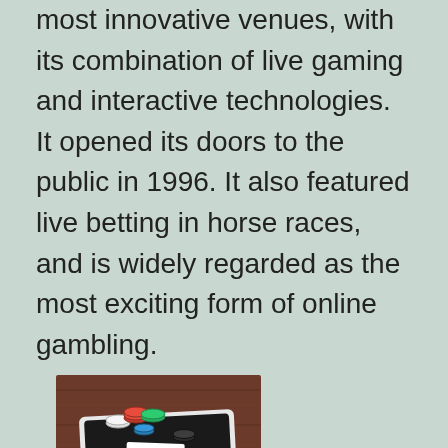most innovative venues, with its combination of live gaming and interactive technologies. It opened its doors to the public in 1996. It also featured live betting in horse races, and is widely regarded as the most exciting form of online gambling.
[Figure (photo): A tablet device lying on a wooden table with poker chips (red, green, black, white) and playing cards placed on top of it.]
Some sites will require players to download software that will run on a special computer, but for the most part, you'll have to be online to